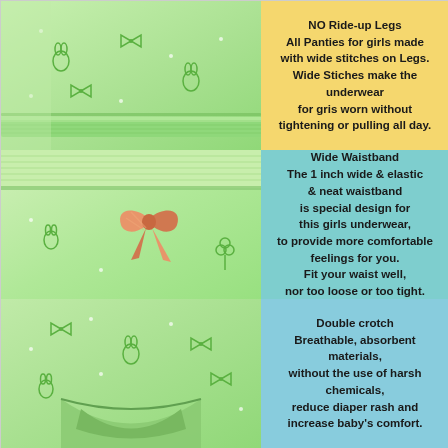[Figure (photo): Close-up of light green fabric underwear showing leg stitching area with green bunny/bow patterns]
NO Ride-up Legs
All Panties for girls made with wide stitches on Legs.
Wide Stiches make the underwear for gris worn without tightening or pulling all day.
[Figure (photo): Close-up of light green fabric underwear waistband with orange ribbon bow detail and green patterns]
Wide Waistband
The 1 inch wide & elastic & neat waistband is special design for this girls underwear, to provide more comfortable feelings for you. Fit your waist well, nor too loose or too tight.
[Figure (photo): Close-up of light green fabric underwear crotch area showing double crotch construction with green bunny/bow patterns]
Double crotch
Breathable, absorbent materials, without the use of harsh chemicals, reduce diaper rash and increase baby's comfort.